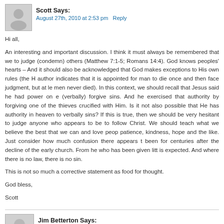Scott Says:
August 27th, 2010 at 2:53 pm   Reply
Hi all,

An interesting and important discussion. I think it must always be remembered that we to judge (condemn) others (Matthew 7:1-5; Romans 14:4). God knows peoples' hearts – And it should also be acknowledged that God makes exceptions to His own rules (the H author indicates that it is appointed for man to die once and then face judgment, but at le men never died). In this context, we should recall that Jesus said he had power on e (verbally) forgive sins. And he exercised that authority by forgiving one of the thieves crucified with Him. Is it not also possible that He has authority in heaven to verbally sins? If this is true, then we should be very hesitant to judge anyone who appears to be to follow Christ. We should teach what we believe the best that we can and love peop patience, kindness, hope and the like. Just consider how much confusion there appears t been for centuries after the decline of the early church. From he who has been given lit is expected. And where there is no law, there is no sin.

This is not so much a corrective statement as food for thought.

God bless,

Scott
Jim Betterton Says:
May 8th, 2018 at 12:00 pm   Reply